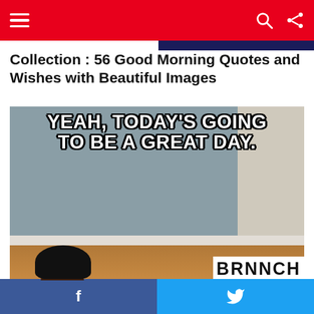≡  🔍 ⬆
Collection : 56 Good Morning Quotes and Wishes with Beautiful Images
[Figure (photo): Meme photo of a young Black toddler girl in a red/coral jacket with a blue denim shirt underneath, striking a confident pose with one hand raised. White bold text overlay reads: 'YEAH, TODAY'S GOING TO BE A GREAT DAY.' Partial text 'BRUNCH' visible at bottom right.]
0 Shares   Motivation Quotes   BRUNCH
Collection : 95 of the Good Morning Memes
f     🐦